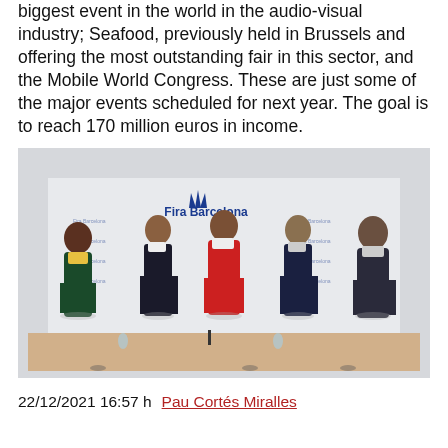biggest event in the world in the audio-visual industry; Seafood, previously held in Brussels and offering the most outstanding fair in this sector, and the Mobile World Congress. These are just some of the major events scheduled for next year. The goal is to reach 170 million euros in income.
[Figure (photo): Five people standing in front of a Fira Barcelona branded backdrop, all wearing face masks. The central person wears a red jacket. A conference table is in front of them.]
22/12/2021 16:57 h   Pau Cortés Miralles